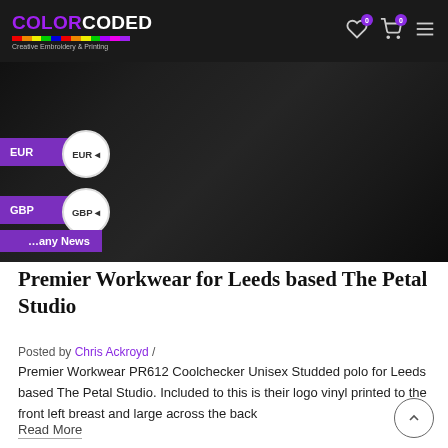COLORCODED Creative Embroidery & Printing
[Figure (photo): Dark black fabric/hoodie close-up product photo with currency selector overlays (EUR and GBP) and a purple navigation tab labeled 'any News']
Premier Workwear for Leeds based The Petal Studio
Posted by Chris Ackroyd /
Premier Workwear PR612 Coolchecker Unisex Studded polo for Leeds based The Petal Studio. Included to this is their logo vinyl printed to the front left breast and large across the back
Read More